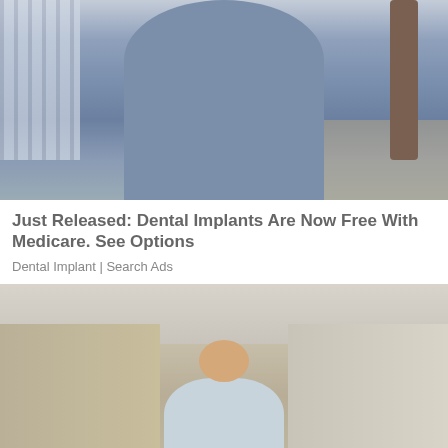[Figure (photo): A woman wearing a blue-gray short-sleeve top standing on a sidewalk with a metal fence visible on the left and a tree on the right. Outdoor urban setting.]
Just Released: Dental Implants Are Now Free With Medicare. See Options
Dental Implant | Search Ads
[Figure (photo): Interior room scene showing the back view of a bald man seated, with beige/tan walls and a white ceiling visible.]